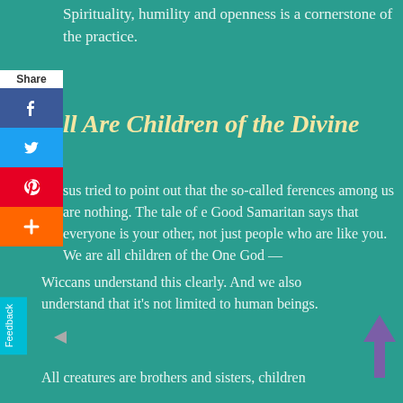Spirituality, humility and openness is a cornerstone of the practice.
[Figure (infographic): Social share panel with Facebook, Twitter, Pinterest, and AddThis buttons, plus a Feedback tab]
All Are Children of the Divine
Jesus tried to point out that the so-called differences among us are nothing. The tale of the Good Samaritan says that everyone is your brother, not just people who are like you. We are all children of the One God —
Wiccans understand this clearly. And we also understand that it's not limited to human beings.
All creatures are brothers and sisters, children